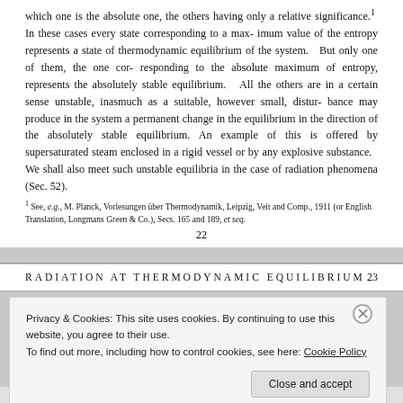which one is the absolute one, the others having only a relative significance.¹ In these cases every state corresponding to a maximum value of the entropy represents a state of thermodynamic equilibrium of the system. But only one of them, the one corresponding to the absolute maximum of entropy, represents the absolutely stable equilibrium. All the others are in a certain sense unstable, inasmuch as a suitable, however small, disturbance may produce in the system a permanent change in the equilibrium in the direction of the absolutely stable equilibrium. An example of this is offered by supersaturated steam enclosed in a rigid vessel or by any explosive substance. We shall also meet such unstable equilibria in the case of radiation phenomena (Sec. 52).
¹ See, e.g., M. Planck, Vorlesungen über Thermodynamik, Leipzig, Veit and Comp., 1911 (or English Translation, Longmans Green & Co.), Secs. 165 and 189, et seq.
22
RADIATION AT THERMODYNAMIC EQUILIBRIUM   23
Privacy & Cookies: This site uses cookies. By continuing to use this website, you agree to their use.
To find out more, including how to control cookies, see here: Cookie Policy